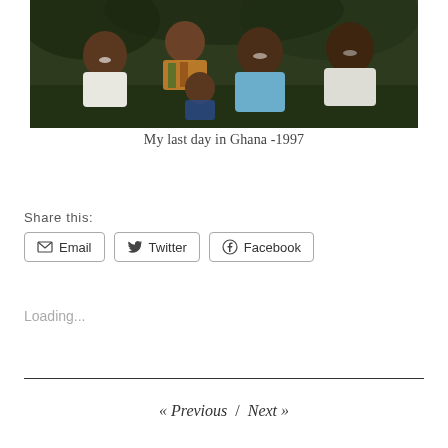[Figure (photo): Group photo of four people sitting together outdoors, smiling. One person in white shirt on left, one in patterned/colorful top in back, one in light blue dress in front right, one in white top on far right. Green foliage in background. Photo dated 1997, Ghana.]
My last day in Ghana -1997
Share this:
Email
Twitter
Facebook
Loading...
« Previous / Next »